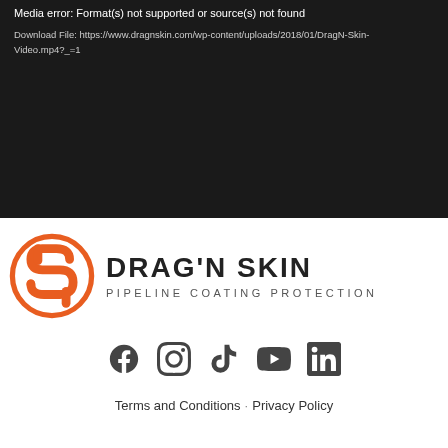[Figure (screenshot): Dark video player error block showing 'Media error: Format(s) not supported or source(s) not found' with a download file link to https://www.dragnskin.com/wp-content/uploads/2018/01/DragN-Skin-Video.mp4?_=1]
Media error: Format(s) not supported or source(s) not found
Download File: https://www.dragnskin.com/wp-content/uploads/2018/01/DragN-Skin-Video.mp4?_=1
[Figure (logo): Drag'N Skin Pipeline Coating Protection logo with orange S-shaped icon inside a circle]
[Figure (infographic): Social media icons: Facebook, Instagram, TikTok, YouTube, LinkedIn]
Terms and Conditions · Privacy Policy